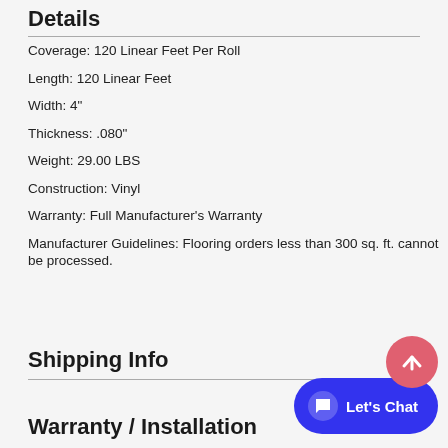Details
Coverage: 120 Linear Feet Per Roll
Length: 120 Linear Feet
Width: 4"
Thickness: .080"
Weight: 29.00 LBS
Construction: Vinyl
Warranty: Full Manufacturer's Warranty
Manufacturer Guidelines: Flooring orders less than 300 sq. ft. cannot be processed.
Shipping Info
Warranty / Installation